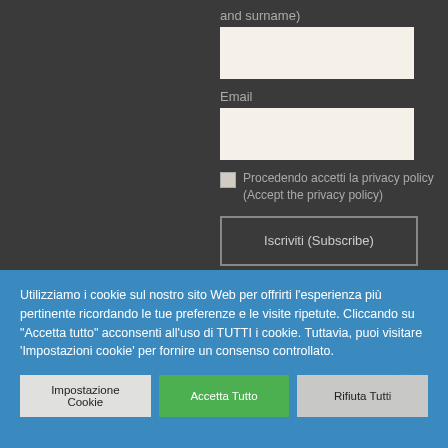and surname)
Email
Procedendo accetti la privacy policy (Accept the privacy policy)
Iscriviti (Subscribe)
Utilizziamo i cookie sul nostro sito Web per offrirti l'esperienza più pertinente ricordando le tue preferenze e le visite ripetute. Cliccando su "Accetta tutto" acconsenti all'uso di TUTTI i cookie. Tuttavia, puoi visitare 'Impostazioni cookie' per fornire un consenso controllato.
Impostazione Cookie
Accetta Tutto
Rifiuta Tutti